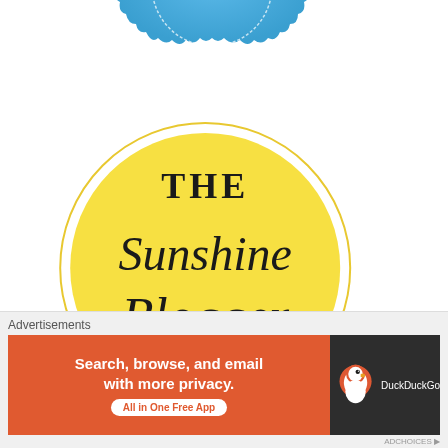[Figure (logo): Partially visible blue scalloped badge/seal showing text 'ROVED BLOG' (approved blog badge) in white, cropped at top of page]
[Figure (illustration): Sunshine Blogger Award logo: a large yellow circle with a thin yellow outer ring on white background. Text inside reads 'THE' in bold serif, 'Sunshine Blogger' in large black cursive script, and 'AWARD' in bold serif capitals.]
[Figure (other): Close/dismiss button (X in circle) at right side]
Advertisements
[Figure (other): DuckDuckGo advertisement banner: orange left section with text 'Search, browse, and email with more privacy. All in One Free App' and dark right section with DuckDuckGo duck logo]